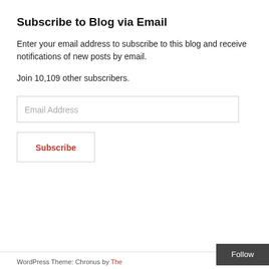Subscribe to Blog via Email
Enter your email address to subscribe to this blog and receive notifications of new posts by email.
Join 10,109 other subscribers.
Email Address
Subscribe
WordPress Theme: Chronus by The